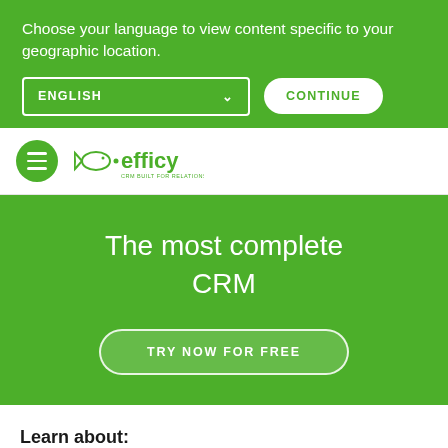Choose your language to view content specific to your geographic location.
ENGLISH
CONTINUE
[Figure (logo): Efficy CRM logo with hamburger menu icon on green circle]
The most complete CRM
TRY NOW FOR FREE
Learn about: